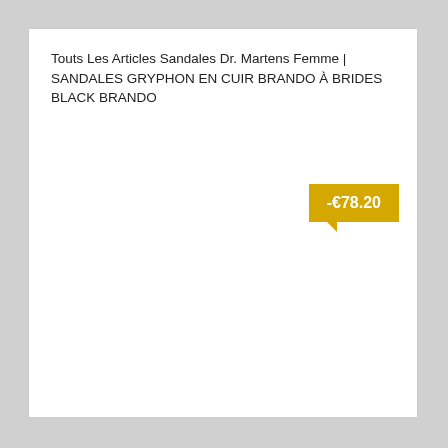Touts Les Articles Sandales Dr. Martens Femme | SANDALES GRYPHON EN CUIR BRANDO À BRIDES BLACK BRANDO
[Figure (infographic): Yellow speech bubble tooltip showing price discount -€78.20]